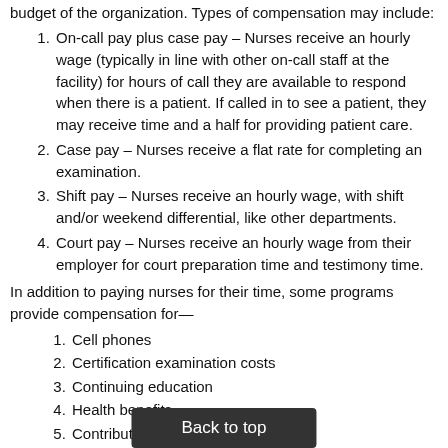budget of the organization. Types of compensation may include:
On-call pay plus case pay – Nurses receive an hourly wage (typically in line with other on-call staff at the facility) for hours of call they are available to respond when there is a patient. If called in to see a patient, they may receive time and a half for providing patient care.
Case pay – Nurses receive a flat rate for completing an examination.
Shift pay – Nurses receive an hourly wage, with shift and/or weekend differential, like other departments.
Court pay – Nurses receive an hourly wage from their employer for court preparation time and testimony time.
In addition to paying nurses for their time, some programs provide compensation for—
Cell phones
Certification examination costs
Continuing education
Health benefits
Contribution to retirement plans, etc.
Mileage